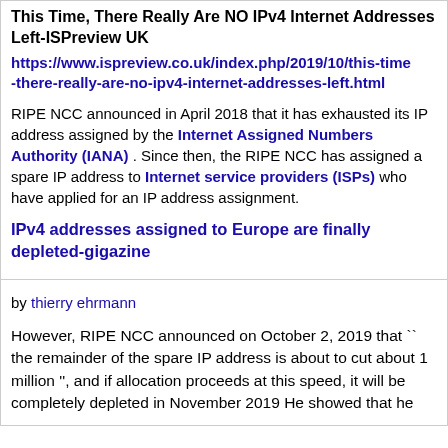This Time, There Really Are NO IPv4 Internet Addresses Left-ISPreview UK
https://www.ispreview.co.uk/index.php/2019/10/this-time-there-really-are-no-ipv4-internet-addresses-left.html
RIPE NCC announced in April 2018 that it has exhausted its IP address assigned by the Internet Assigned Numbers Authority (IANA) . Since then, the RIPE NCC has assigned a spare IP address to Internet service providers (ISPs) who have applied for an IP address assignment.
IPv4 addresses assigned to Europe are finally depleted-gigazine
by thierry ehrmann
However, RIPE NCC announced on October 2, 2019 that `` the remainder of the spare IP address is about to cut about 1 million '', and if allocation proceeds at this speed, it will be completely depleted in November 2019 He showed that he